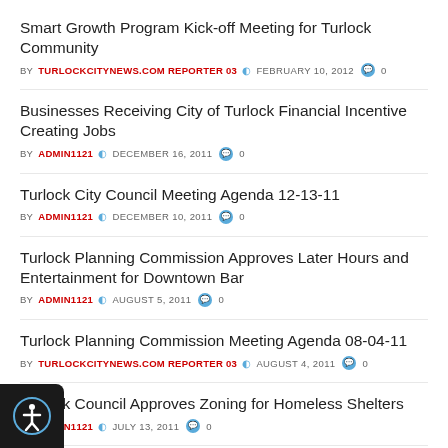Smart Growth Program Kick-off Meeting for Turlock Community
BY TURLOCKCITYNEWS.COM REPORTER 03  FEBRUARY 10, 2012  0
Businesses Receiving City of Turlock Financial Incentive Creating Jobs
BY ADMIN1121  DECEMBER 16, 2011  0
Turlock City Council Meeting Agenda 12-13-11
BY ADMIN1121  DECEMBER 10, 2011  0
Turlock Planning Commission Approves Later Hours and Entertainment for Downtown Bar
BY ADMIN1121  AUGUST 5, 2011  0
Turlock Planning Commission Meeting Agenda 08-04-11
BY TURLOCKCITYNEWS.COM REPORTER 03  AUGUST 4, 2011  0
Turlock Council Approves Zoning for Homeless Shelters
BY ADMIN1121  JULY 13, 2011  0
ness Advisory Committee Established to Help Rename